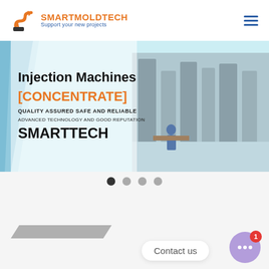[Figure (logo): SmartMoldTech logo with orange S-shaped arrow icon, company name in orange 'SMARTMOLDTECH', tagline 'Support your new projects' in blue]
[Figure (photo): Banner image showing injection molding machines in a factory. Text overlay reads 'Injection Machines [CONCENTRATE] QUALITY ASSURED SAFE AND RELIABLE ADVANCED TECHNOLOGY AND GOOD REPUTATION SMARTTECH'. Left side has blue diagonal stripe, right side shows factory floor with machines and workers.]
[Figure (infographic): Carousel pagination dots: 4 dots, first dark (active), remaining three gray (inactive)]
[Figure (infographic): Gray parallelogram/arrow shape at bottom left of page]
Contact us
[Figure (infographic): Purple circular chat button with ellipsis (three dots) icon, red badge with number '1']